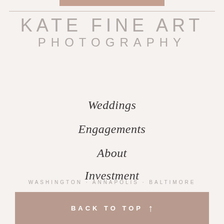KATE FINE ART PHOTOGRAPHY
Weddings
Engagements
About
Investment
Contact
WASHINGTON · ANNAPOLIS · BALTIMORE
BACK TO TOP ↑